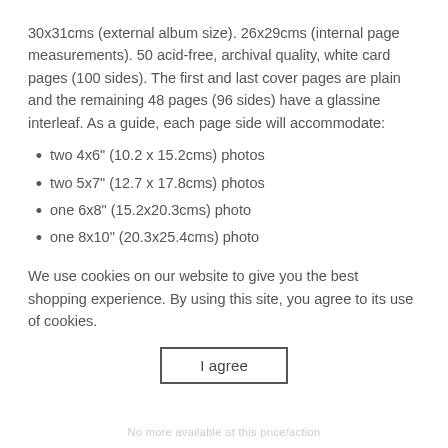30x31cms (external album size). 26x29cms (internal page measurements). 50 acid-free, archival quality, white card pages (100 sides). The first and last cover pages are plain and the remaining 48 pages (96 sides) have a glassine interleaf. As a guide, each page side will accommodate:
two 4x6" (10.2 x 15.2cms) photos
two 5x7" (12.7 x 17.8cms) photos
one 6x8" (15.2x20.3cms) photo
one 8x10" (20.3x25.4cms) photo
We use cookies on our website to give you the best shopping experience. By using this site, you agree to its use of cookies.
I agree